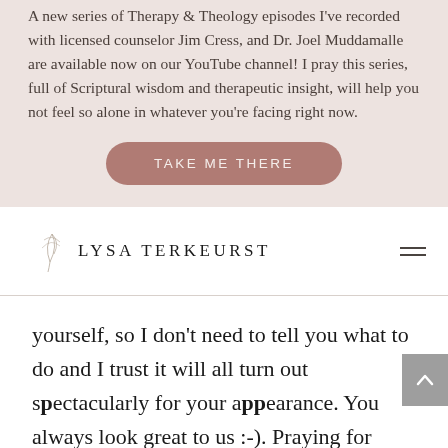A new series of Therapy & Theology episodes I've recorded with licensed counselor Jim Cress, and Dr. Joel Muddamalle are available now on our YouTube channel! I pray this series, full of Scriptural wisdom and therapeutic insight, will help you not feel so alone in whatever you're facing right now.
TAKE ME THERE
LYSA TERKEURST
yourself, so I don't need to tell you what to do and I trust it will all turn out spectacularly for your appearance. You always look great to us :-). Praying for you!